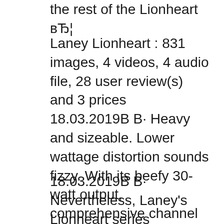the rest of the Lionheart вЂ¦
Laney Lionheart : 831 images, 4 videos, 4 audio file, 28 user review(s) and 3 prices 18.03.2019В В· Heavy and sizeable. Lower wattage distortion sounds fizzy. With its beefy 30-watt output, comprehensive channel coverage and low price tag (at least, in the UK), Laney's Ironheart more than justifies its position as a cost-effective combo for gigging вЂ¦
18.03.2019В В· Nevertheless, Laney's Lionheart series consistently surprises us every time we plug into one. The range continues to grow, with the recent addition of the L20T 212 combo,